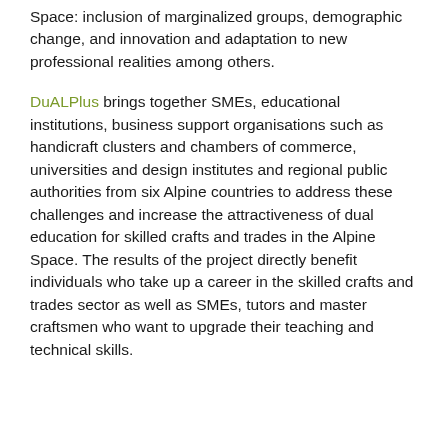Space: inclusion of marginalized groups, demographic change, and innovation and adaptation to new professional realities among others.
DuALPlus brings together SMEs, educational institutions, business support organisations such as handicraft clusters and chambers of commerce, universities and design institutes and regional public authorities from six Alpine countries to address these challenges and increase the attractiveness of dual education for skilled crafts and trades in the Alpine Space. The results of the project directly benefit individuals who take up a career in the skilled crafts and trades sector as well as SMEs, tutors and master craftsmen who want to upgrade their teaching and technical skills.